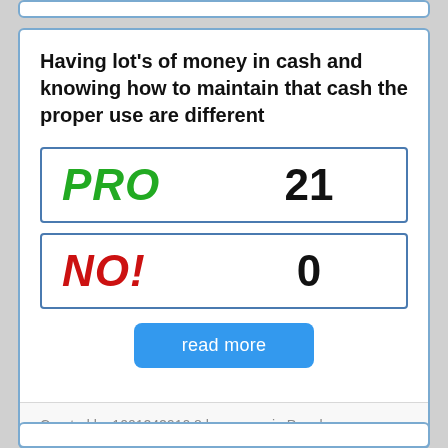Having lot's of money in cash and knowing how to maintain that cash the proper use are different
| Vote | Count |
| --- | --- |
| PRO | 21 |
| NO! | 0 |
read more
Created by 1001242910 8 hours ago in People